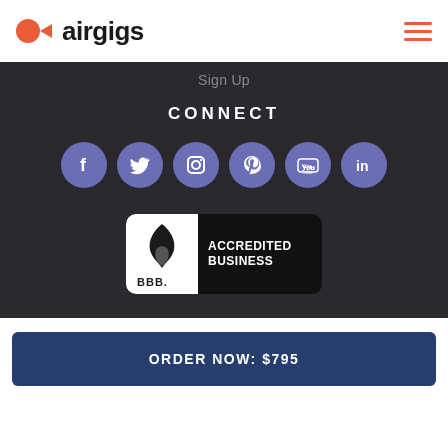[Figure (logo): Airgigs logo with orange circle and play button icon, followed by 'airgigs' text in bold black]
[Figure (infographic): Hamburger menu icon with three orange horizontal lines]
Sign Up
CONNECT
[Figure (infographic): Six social media icons in purple circles: Facebook, Twitter, Instagram, Pinterest, YouTube, LinkedIn]
[Figure (logo): BBB Accredited Business badge with black background]
ORDER NOW: $795